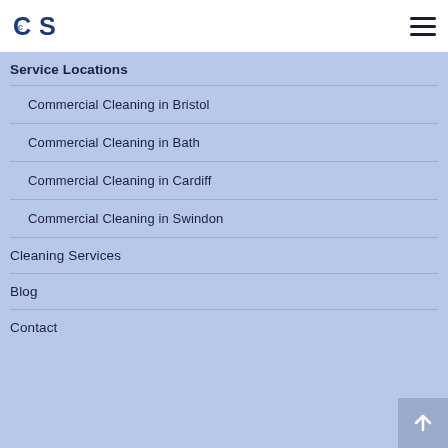CCS [logo] | [hamburger menu]
Service Locations
Commercial Cleaning in Bristol
Commercial Cleaning in Bath
Commercial Cleaning in Cardiff
Commercial Cleaning in Swindon
Cleaning Services
Blog
Contact